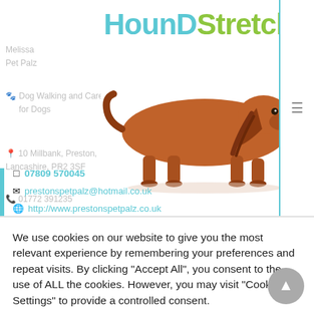[Figure (logo): HounDStretcher logo in teal and green with dachshund dog image]
Melissa Pet Palz
Dog Walking and Care for Dogs
10 Millbank, Preston, Lancashire, PR2 3SF
01772 391235
07809 570045
prestonspetpalz@hotmail.co.uk
http://www.prestonspetpalz.co.uk
We use cookies on our website to give you the most relevant experience by remembering your preferences and repeat visits. By clicking "Accept All", you consent to the use of ALL the cookies. However, you may visit "Cookie Settings" to provide a controlled consent.